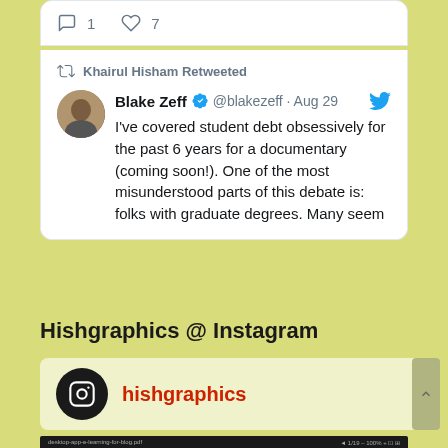[Figure (screenshot): Twitter card showing reply count 1 and like count 7 at top]
Khairul Hisham Retweeted
Blake Zeff @blakezeff · Aug 29
I've covered student debt obsessively for the past 6 years for a documentary (coming soon!). One of the most misunderstood parts of this debate is: folks with graduate degrees. Many seem
Hishgraphics @ Instagram
hishgraphics
[Figure (screenshot): Dark screenshot of a PDF viewer interface with toolbar]